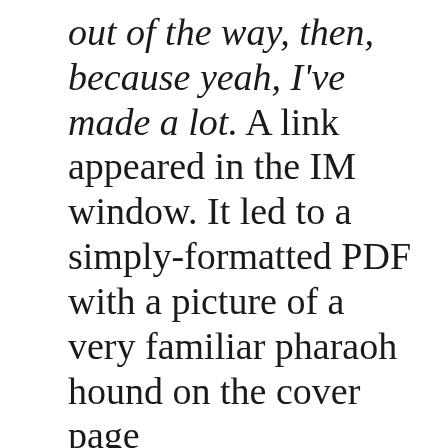out of the way, then, because yeah, I've made a lot. A link appeared in the IM window. It led to a simply-formatted PDF with a picture of a very familiar pharaoh hound on the cover page